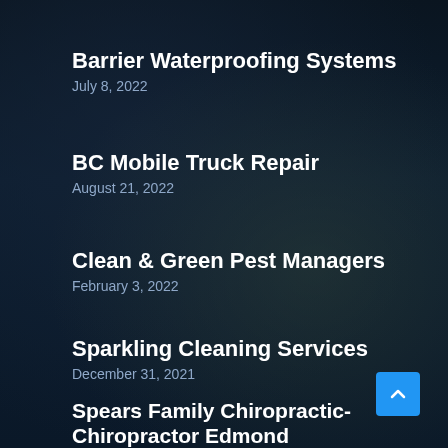Barrier Waterproofing Systems
July 8, 2022
BC Mobile Truck Repair
August 21, 2022
Clean & Green Pest Managers
February 3, 2022
Sparkling Cleaning Services
December 31, 2021
Spears Family Chiropractic- Chiropractor Edmond
March 28, 2022